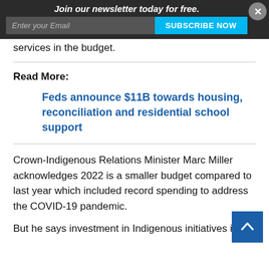Join our newsletter today for free.
services in the budget.
Read More:
Feds announce $11B towards housing, reconciliation and residential school support
Crown-Indigenous Relations Minister Marc Miller acknowledges 2022 is a smaller budget compared to last year which included record spending to address the COVID-19 pandemic.
But he says investment in Indigenous initiatives is